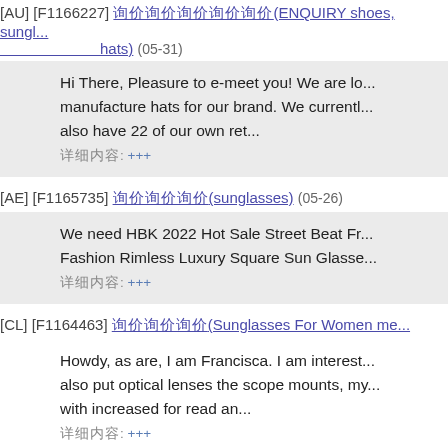[AU] [F1166227] 询价询价询价询价询价(ENQUIRY shoes, sunglasses, hats) (05-31)
Hi There, Pleasure to e-meet you! We are lo... manufacture hats for our brand. We currentl... also have 22 of our own ret...
详细内容: +++
[AE] [F1165735] 询价询价询价(sunglasses) (05-26)
We need HBK 2022 Hot Sale Street Beat Fr... Fashion Rimless Luxury Square Sun Glasse...
详细内容: +++
[CL] [F1164463] 询价询价询价(Sunglasses For Women me...
Howdy, as are, I am Francisca. I am interest... also put optical lenses the scope mounts, my... with increased for read an...
详细内容: +++
[IT] [F1163339] 询价询价询价询价询价(custom logo sunglasses)
dear Company, we are , an Italian music wh... instruments and we are looking for a supplie... marketing. Can you send us your catal...
详细内容: +++